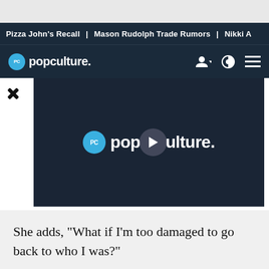Pizza John's Recall | Mason Rudolph Trade Rumors | Nikki A
[Figure (logo): Popculture.com logo and navigation bar with user icon, theme toggle, and hamburger menu]
[Figure (screenshot): Video player showing popculture.com logo with play button overlay on dark background]
She adds, "What if I'm too damaged to go back to who I was?"